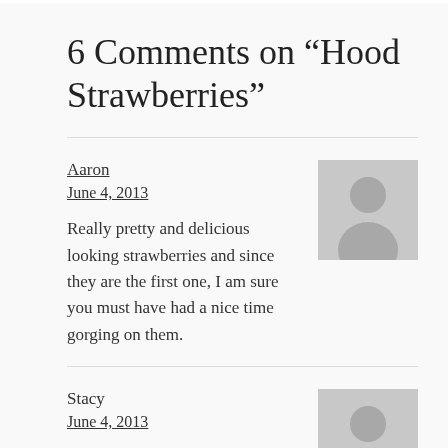6 Comments on “Hood Strawberries”
Aaron
June 4, 2013

Really pretty and delicious looking strawberries and since they are the first one, I am sure you must have had a nice time gorging on them.
Stacy
June 4, 2013